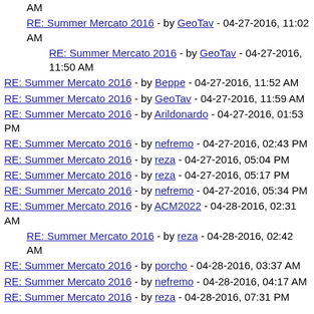AM
RE: Summer Mercato 2016 - by GeoTav - 04-27-2016, 11:02 AM
RE: Summer Mercato 2016 - by GeoTav - 04-27-2016, 11:50 AM
RE: Summer Mercato 2016 - by Beppe - 04-27-2016, 11:52 AM
RE: Summer Mercato 2016 - by GeoTav - 04-27-2016, 11:59 AM
RE: Summer Mercato 2016 - by Arildonardo - 04-27-2016, 01:53 PM
RE: Summer Mercato 2016 - by nefremo - 04-27-2016, 02:43 PM
RE: Summer Mercato 2016 - by reza - 04-27-2016, 05:04 PM
RE: Summer Mercato 2016 - by reza - 04-27-2016, 05:17 PM
RE: Summer Mercato 2016 - by nefremo - 04-27-2016, 05:34 PM
RE: Summer Mercato 2016 - by ACM2022 - 04-28-2016, 02:31 AM
RE: Summer Mercato 2016 - by reza - 04-28-2016, 02:42 AM
RE: Summer Mercato 2016 - by porcho - 04-28-2016, 03:37 AM
RE: Summer Mercato 2016 - by nefremo - 04-28-2016, 04:17 AM
RE: Summer Mercato 2016 - by reza - 04-28-2016, 07:31 PM